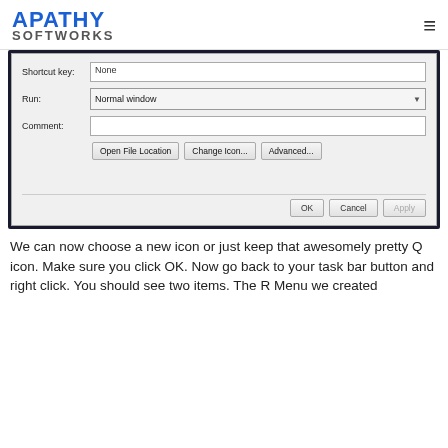APATHY SOFTWORKS
[Figure (screenshot): A Windows dialog box showing shortcut properties with fields for Shortcut key (None), Run (Normal window dropdown), Comment (empty text field), and buttons: Open File Location, Change Icon..., Advanced... At the bottom are OK, Cancel, and Apply buttons.]
We can now choose a new icon or just keep that awesomely pretty Q icon. Make sure you click OK. Now go back to your task bar button and right click. You should see two items. The R Menu we created